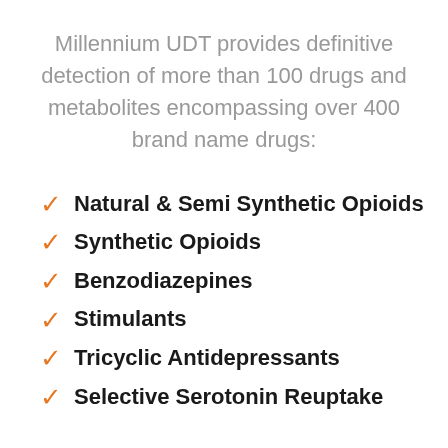Millennium UDT provides definitive detection of more than 100 drugs and metabolites encompassing over 400 brand name drugs:
Natural & Semi Synthetic Opioids
Synthetic Opioids
Benzodiazepines
Stimulants
Tricyclic Antidepressants
Selective Serotonin Reuptake